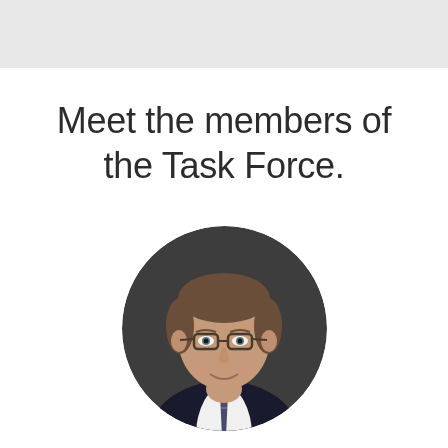Meet the members of the Task Force.
[Figure (photo): Circular headshot portrait of a middle-aged man with brown hair, wearing glasses, a dark suit jacket, white dress shirt, and a striped tie, smiling slightly, against a dark grey background.]